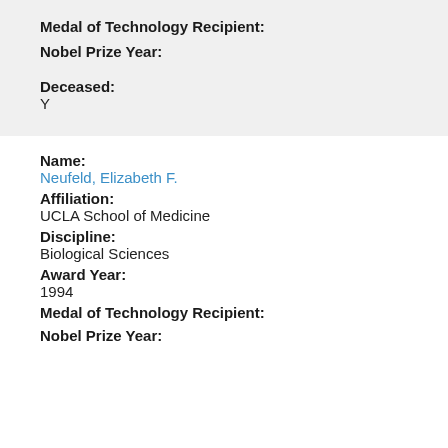Medal of Technology Recipient:
Nobel Prize Year:
Deceased:
Y
Name:
Neufeld, Elizabeth F.
Affiliation:
UCLA School of Medicine
Discipline:
Biological Sciences
Award Year:
1994
Medal of Technology Recipient:
Nobel Prize Year: